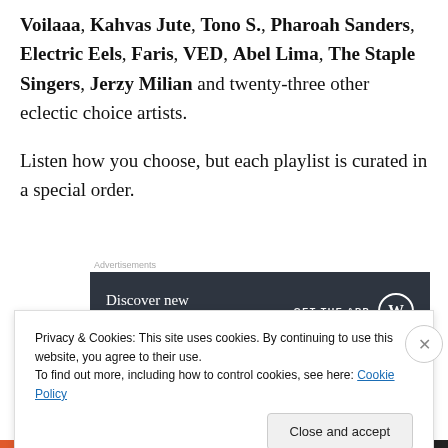Voilaaa, Kahvas Jute, Tono S., Pharoah Sanders, Electric Eels, Faris, VED, Abel Lima, The Staple Singers, Jerzy Milian and twenty-three other eclectic choice artists.
Listen how you choose, but each playlist is curated in a special order.
[Figure (other): Advertisement banner: dark grey background with text 'Discover new reads on the go.' and call-to-action 'GET THE APP' with WordPress logo]
As usual, for those without Spotify (or boycotting it, pissed
Privacy & Cookies: This site uses cookies. By continuing to use this website, you agree to their use.
To find out more, including how to control cookies, see here: Cookie Policy